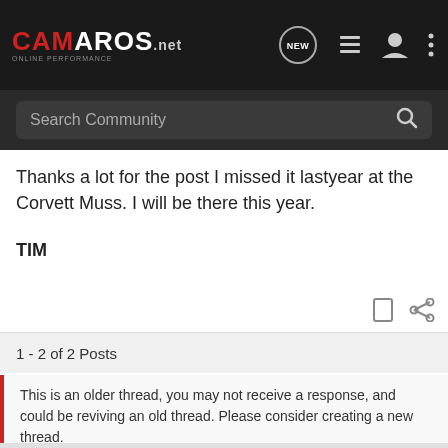Camaros.net - Online Performance | Search Community
Thanks a lot for the post I missed it lastyear at the Corvett Muss. I will be there this year.

TIM
1 - 2 of 2 Posts
This is an older thread, you may not receive a response, and could be reviving an old thread. Please consider creating a new thread.